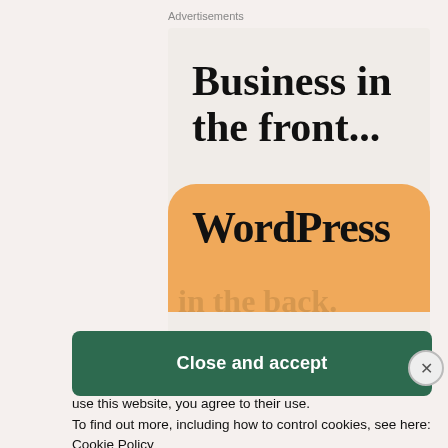Advertisements
[Figure (screenshot): Advertisement banner showing 'Business in the front...' text with WordPress branding on a beige/cream background with an orange band containing 'WordPress' text and 'in the back.' watermark text.]
Privacy & Cookies: This site uses cookies. By continuing to use this website, you agree to their use.
To find out more, including how to control cookies, see here:
Cookie Policy
Close and accept